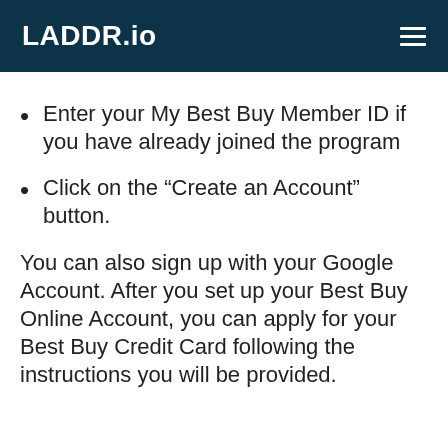LADDR.io
Enter your My Best Buy Member ID if you have already joined the program
Click on the “Create an Account” button.
You can also sign up with your Google Account. After you set up your Best Buy Online Account, you can apply for your Best Buy Credit Card following the instructions you will be provided.